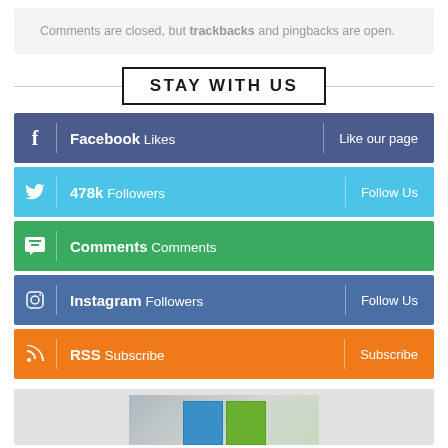Comments are closed, but trackbacks and pingbacks are open.
STAY WITH US
f | Facebook Likes | Like our page
478k Followers | Follow Us
Comments Comments
Instagram Followers | Follow Us
RSS Subscribe | Subscribe
[Figure (screenshot): Bottom partial image showing a screenshot or graphic with colorful tiles/icons]